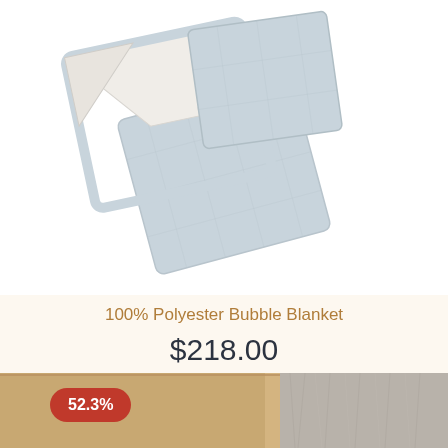[Figure (photo): A light grey and white 100% Polyester Bubble Blanket folded and displayed on a white background, showing two layers with a small label tag visible.]
100% Polyester Bubble Blanket
$218.00
[Figure (photo): Bottom portion of a second product card showing a beige/brown cardboard box next to a grey fur or textile item, with a red discount badge showing 52.3%.]
52.3%